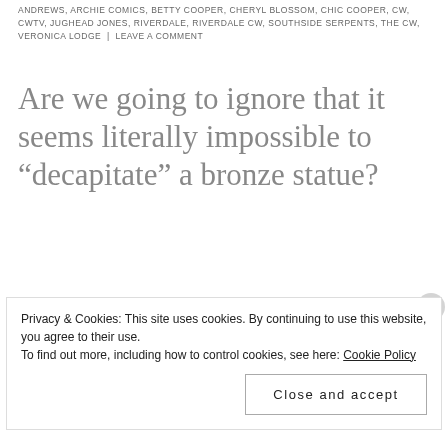ANDREWS, ARCHIE COMICS, BETTY COOPER, CHERYL BLOSSOM, CHIC COOPER, CW, CWTV, JUGHEAD JONES, RIVERDALE, RIVERDALE CW, SOUTHSIDE SERPENTS, THE CW, VERONICA LODGE | LEAVE A COMMENT
Are we going to ignore that it seems literally impossible to “decapitate” a bronze statue?
Grade: B-
Privacy & Cookies: This site uses cookies. By continuing to use this website, you agree to their use.
To find out more, including how to control cookies, see here: Cookie Policy
Close and accept